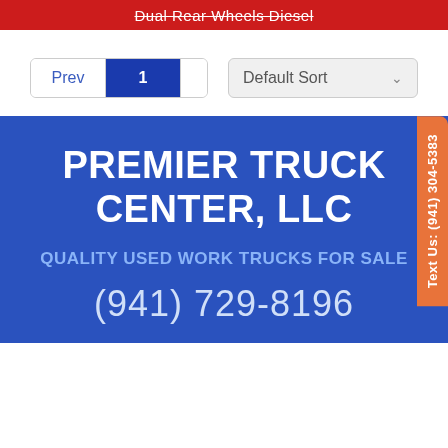Dual Rear Wheels Diesel
Prev 1 2 3 Next | Default Sort
PREMIER TRUCK CENTER, LLC
QUALITY USED WORK TRUCKS FOR SALE
(941) 729-8196
Text Us: (941) 304-5383